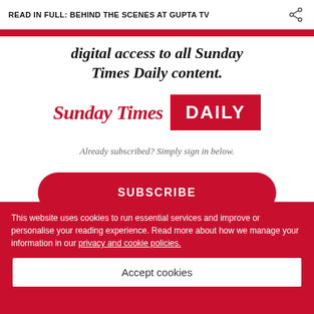READ IN FULL: BEHIND THE SCENES AT GUPTA TV
digital access to all Sunday Times Daily content.
[Figure (logo): Sunday Times DAILY logo — 'Sunday Times' in red blackletter on the left, 'DAILY' in white on a red rectangle on the right]
Already subscribed? Simply sign in below.
SUBSCRIBE
This website uses cookies to run essential services and improve or personalise your reading experience. Read more about how we manage your information in our privacy and cookie policies.
Accept cookies